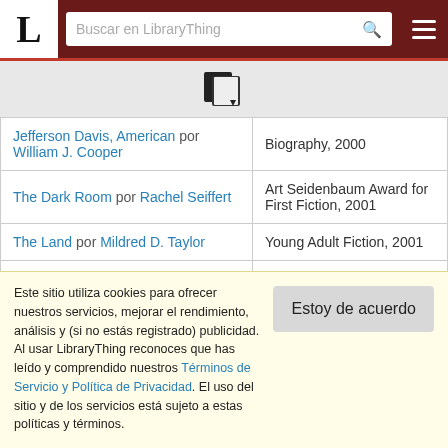LibraryThing - Buscar en LibraryThing
[Figure (other): Book/document icon with a small dropdown arrow]
| Libro | Premio |
| --- | --- |
| Jefferson Davis, American por William J. Cooper | Biography, 2000 |
| The Dark Room por Rachel Seiffert | Art Seidenbaum Award for First Fiction, 2001 |
| The Land por Mildred D. Taylor | Young Adult Fiction, 2001 |
| The Invention of Clouds: How an ... | ... |
Este sitio utiliza cookies para ofrecer nuestros servicios, mejorar el rendimiento, análisis y (si no estás registrado) publicidad. Al usar LibraryThing reconoces que has leído y comprendido nuestros Términos de Servicio y Política de Privacidad. El uso del sitio y de los servicios está sujeto a estas políticas y términos.
Estoy de acuerdo